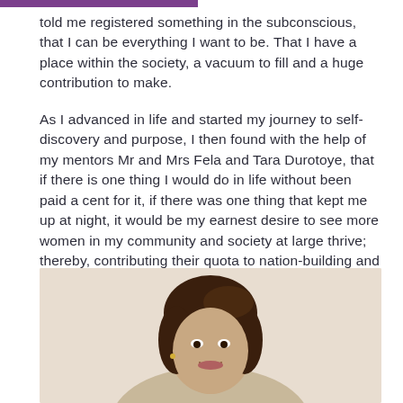told me registered something in the subconscious, that I can be everything I want to be. That I have a place within the society, a vacuum to fill and a huge contribution to make.
As I advanced in life and started my journey to self-discovery and purpose, I then found with the help of my mentors Mr and Mrs Fela and Tara Durotoye, that if there is one thing I would do in life without been paid a cent for it, if there was one thing that kept me up at night, it would be my earnest desire to see more women in my community and society at large thrive; thereby, contributing their quota to nation-building and economy growth. Hence, the birth of 360 Woman Africa.
[Figure (photo): Portrait photo of a woman with dark hair, smiling, shown from shoulders up against a light background.]